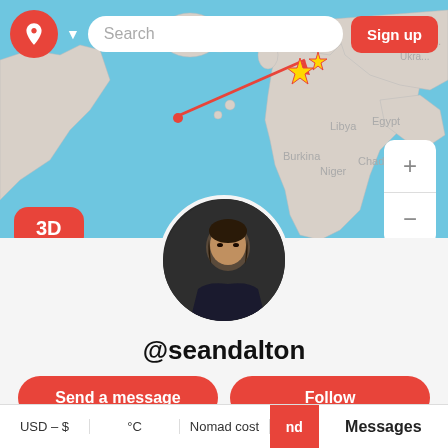[Figure (screenshot): Map application screenshot showing world map with blue oceans and light gray land masses. A red arrow annotation points to Eastern Europe region. Navigation bar at top with logo, search bar, and Sign up button. 3D button at bottom left. Zoom +/- controls at right.]
[Figure (photo): Circular profile photo of a young man holding a camera, wearing dark jacket, photographed outdoors]
@seandalton
Send a message
Follow
USD – $
°C
Nomad cost
Messages